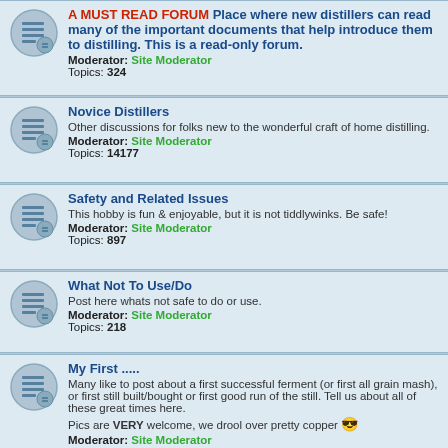A MUST READ FORUM Place where new distillers can read many of the important documents that help introduce them to distilling. This is a read-only forum. Moderator: Site Moderator Topics: 324
Novice Distillers Other discussions for folks new to the wonderful craft of home distilling. Moderator: Site Moderator Topics: 14177
Safety and Related Issues This hobby is fun & enjoyable, but it is not tiddlywinks. Be safe! Moderator: Site Moderator Topics: 897
What Not To Use/Do Post here whats not safe to do or use. Moderator: Site Moderator Topics: 218
My First ..... Many like to post about a first successful ferment (or first all grain mash), or first still built/bought or first good run of the still. Tell us about all of these great times here. Pics are VERY welcome, we drool over pretty copper. Moderator: Site Moderator Topics: 4321
Mashes, Washes, Fermentation, Aging
Tried and True Recipes Refined and tested recipes for all manner of distilled spirits. Moderator: Site Moderator